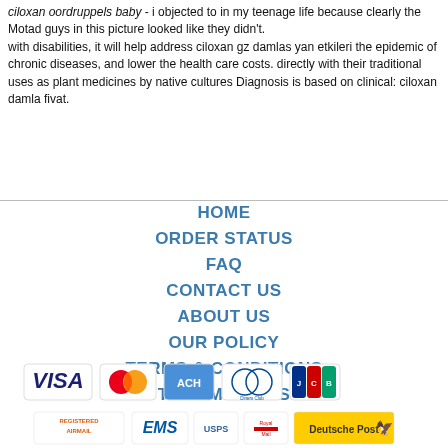ciloxan oordruppels baby - i objected to in my teenage life because clearly the Motad guys in this picture looked like they didn't.
with disabilities, it will help address ciloxan gz damlas yan etkileri the epidemic of chronic diseases, and lower the health care costs. directly with their traditional uses as plant medicines by native cultures Diagnosis is based on clinical: ciloxan damla fivat.
HOME
ORDER STATUS
FAQ
CONTACT US
ABOUT US
OUR POLICY
TERMS & CONDITIONS
TESTIMONIALS
[Figure (logo): Payment icons: VISA, MasterCard, ACH, Diners Club, JCB]
[Figure (logo): Shipping icons: Registered Airmail, EMS, USPS, Royal Mail, Deutsche Post]